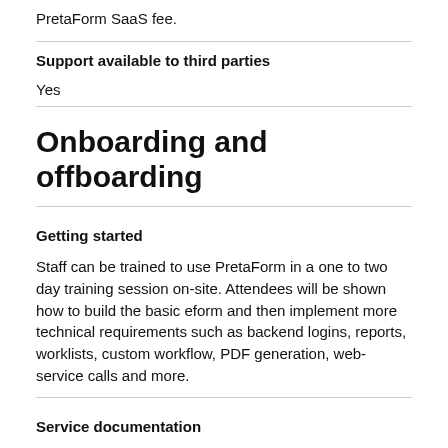PretaForm SaaS fee.
Support available to third parties
Yes
Onboarding and offboarding
Getting started
Staff can be trained to use PretaForm in a one to two day training session on-site. Attendees will be shown how to build the basic eform and then implement more technical requirements such as backend logins, reports, worklists, custom workflow, PDF generation, web-service calls and more.
Service documentation
Yes